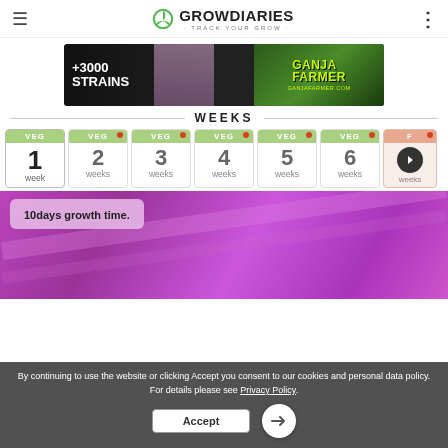GROWDIARIES · TRACK YOUR GROW
[Figure (photo): Advertisement banner for GanjaFarmer.com showing '+3000 STRAINS' text on dark background with woman in pink and green leafy design with 'GANJA FARMER' text]
WEEKS
[Figure (infographic): Week cards showing VEG stage weeks 1 through 7, with week 1 being active/bold, weeks 2-6 with red notification dots, and week 7 partially visible with a navigation arrow]
[Figure (photo): Purple-lit plant grow photo with overlay text '10days growth time.']
By continuing to use the website or clicking Accept you consent to our cookies and personal data policy. For details please see Privacy Policy.
Accept